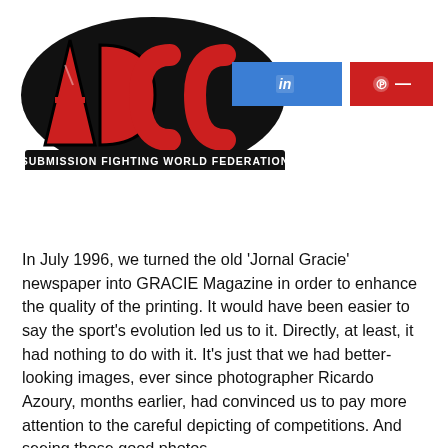[Figure (logo): ADCC Submission Fighting World Federation logo — red graffiti-style lettering 'ADCC' with black outline on white background, with tagline 'SUBMISSION FIGHTING WORLD FEDERATION' in black bold text on a black banner below. Overlaid with blue LinkedIn and red Pinterest social share buttons.]
In July 1996, we turned the old 'Jornal Gracie' newspaper into GRACIE Magazine in order to enhance the quality of the printing. It would have been easier to say the sport's evolution led us to it. Directly, at least, it had nothing to do with it. It's just that we had better-looking images, ever since photographer Ricardo Azoury, months earlier, had convinced us to pay more attention to the careful depicting of competitions. And seeing those good photos